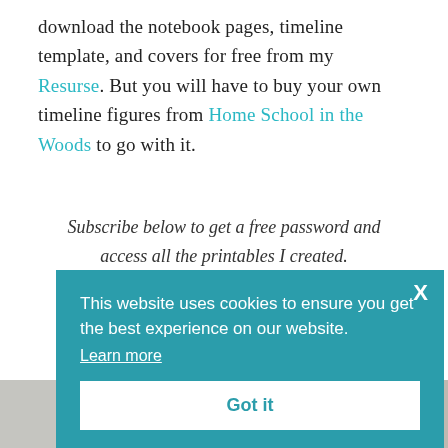download the notebook pages, timeline template, and covers for free from my Resurse. But you will have to buy your own timeline figures from Home School in the Woods to go with it.
Subscribe below to get a free password and access all the printables I created.
[Figure (screenshot): Cookie consent banner overlay with teal background, white close X button, text 'This website uses cookies to ensure you get the best experience on our website.', a 'Learn more' underlined link, and a white 'Got it' button.]
[Figure (photo): Bottom photo strip showing partial images of printed pages and timeline figures.]